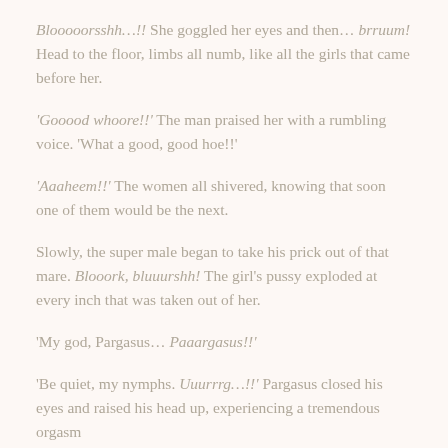Blooooorsshh…!! She goggled her eyes and then… brruum! Head to the floor, limbs all numb, like all the girls that came before her.
'Gooood whoore!!' The man praised her with a rumbling voice. 'What a good, good hoe!!'
'Aaaheem!!' The women all shivered, knowing that soon one of them would be the next.
Slowly, the super male began to take his prick out of that mare. Blooork, bluuurshh! The girl's pussy exploded at every inch that was taken out of her.
'My god, Pargasus… Paaargasus!!'
'Be quiet, my nymphs. Uuurrrg…!!' Pargasus closed his eyes and raised his head up, experiencing a tremendous orgasm